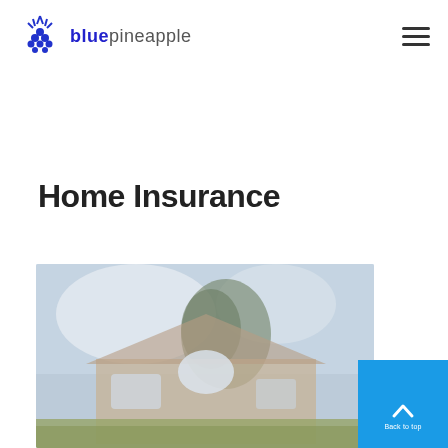[Figure (logo): Blue pineapple logo with icon and text 'bluepineapple' where 'blue' is in blue/dark color and 'pineapple' is in gray]
[Figure (other): Hamburger menu icon (three horizontal lines) in top right corner]
Home Insurance
[Figure (photo): Blurred/soft focus photograph of a residential home with a front lawn, trees in background, against a light blue sky]
[Figure (other): Blue scroll-to-top button with upward chevron arrow in the bottom right corner, partially overlapping the house photo]